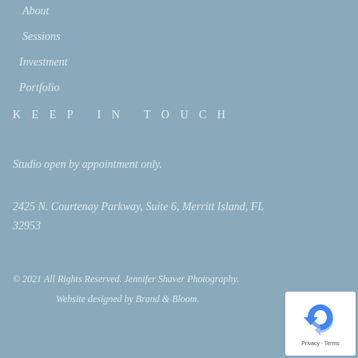About
Sessions
Investment
Portfolio
KEEP IN TOUCH
Studio open by appointment only.
2425 N. Courtenay Parkway, Suite 6, Merritt Island, FL 32953
© 2021 All Rights Reserved. Jennifer Shaver Photography.
Website designed by Brand & Bloom.
[Figure (logo): reCAPTCHA logo with Privacy and Terms links]